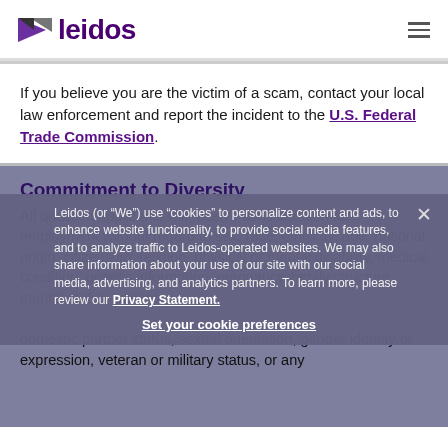[Figure (logo): Leidos logo with purple triangle/arrow icon and purple 'leidos' wordmark]
If you believe you are the victim of a scam, contact your local law enforcement and report the incident to the U.S. Federal Trade Commission.
Commitment to Diversity
All qualified applicants will receive consideration for employment without regard to sex, race, ethnicity, age, national origin, citizenship, religion, physical or mental disability, medical condition, genetic information, pregnancy, family structure, marital status, ancestry, domestic partner status, sexual orientation, gender identity or expression, veteran or military status, or any other basis prohibited by law.
Leidos (or "We") use "cookies" to personalize content and ads, to enhance website functionality, to provide social media features, and to analyze traffic to Leidos-operated websites. We may also share information about your use of our site with our social media, advertising, and analytics partners. To learn more, please review our Privacy Statement.
Set your cookie preferences